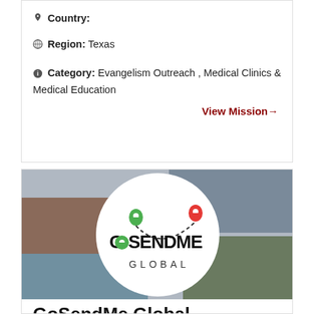Country:
Region: Texas
Category: Evangelism Outreach , Medical Clinics & Medical Education
View Mission→
[Figure (logo): GoSendMe Global logo — circular logo with map pin icons and the text GoSendMe GLOBAL, surrounded by a collage of mission-related photos]
GoSendMe Global